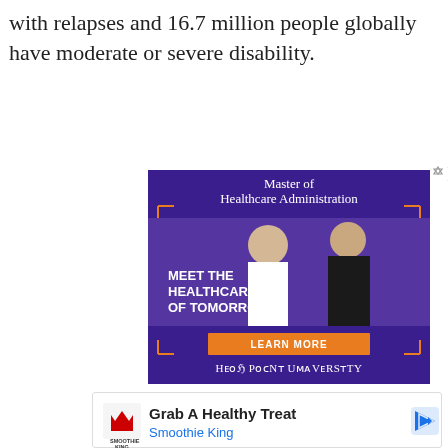with relapses and 16.7 million people globally have moderate or severe disability.
[Figure (illustration): Advertisement for High Point University Master of Healthcare Administration program. Purple background with two women professionals (one in medical attire with stethoscope, one in business attire). Text reads 'MEET THE HEALTHCARE OF TOMORROW' and 'LEARN MORE' button. High Point University branding at bottom.]
[Figure (illustration): Advertisement for Smoothie King: 'Grab A Healthy Treat' with Smoothie King logo and navigation arrow icon.]